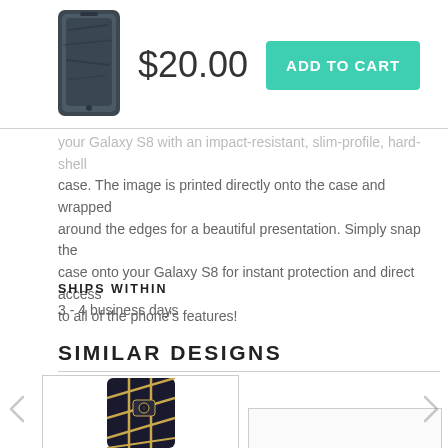[Figure (photo): Product thumbnail of a dark phone case for Galaxy S8]
$20.00
ADD TO CART
your Galaxy S8 with an impact-resistant, slim-profile, hard-shell case. The image is printed directly onto the case and wrapped around the edges for a beautiful presentation. Simply snap the case onto your Galaxy S8 for instant protection and direct access to all of the phone's features!
SHIPS WITHIN
3 - 4 business days
SIMILAR DESIGNS
[Figure (photo): Phone case product image showing black and gold geometric pattern design on Samsung Galaxy S8]
[Figure (photo): Second similar design phone case product, partially visible]